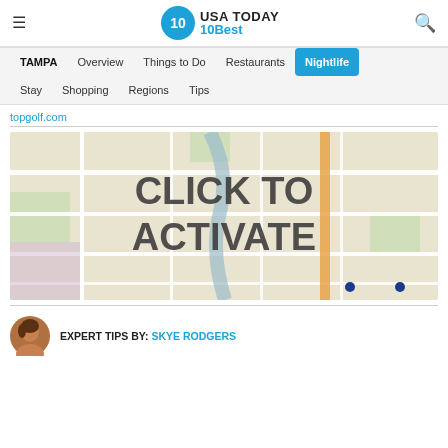USA TODAY 10Best
TAMPA | Overview | Things to Do | Restaurants | Nightlife | Stay | Shopping | Regions | Tips
topgolf.com
[Figure (map): Street map with 'CLICK TO ACTIVATE' overlay text]
EXPERT TIPS BY: SKYE RODGERS